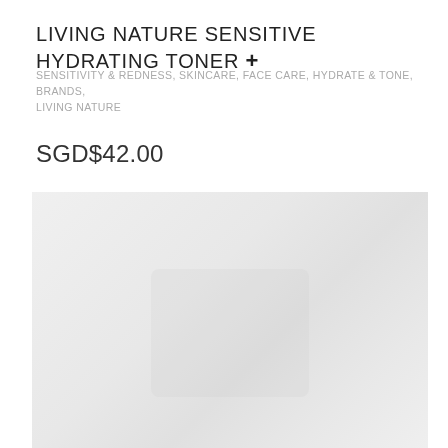LIVING NATURE SENSITIVE HYDRATING TONER +
SENSITIVITY & REDNESS, SKINCARE, FACE CARE, HYDRATE & TONE, BRANDS, LIVING NATURE
SGD$42.00
[Figure (photo): Product image placeholder — light grey background with faint product silhouette, no clear product visible]